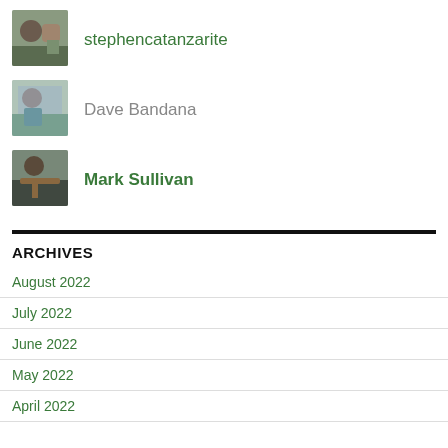[Figure (photo): Profile photo of stephencatanzarite - person with beard and dog outdoors]
stephencatanzarite
[Figure (photo): Profile photo of Dave Bandana - man with blue shirt outdoors]
Dave Bandana
[Figure (photo): Profile photo of Mark Sullivan - man playing guitar]
Mark Sullivan
ARCHIVES
August 2022
July 2022
June 2022
May 2022
April 2022